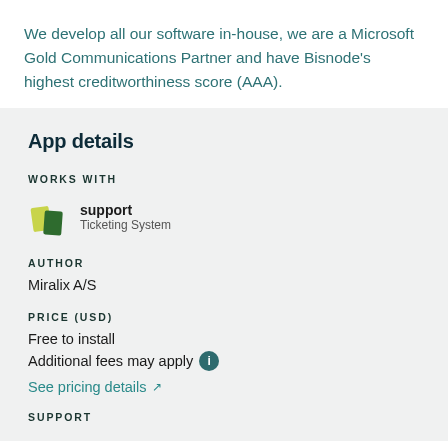We develop all our software in-house, we are a Microsoft Gold Communications Partner and have Bisnode’s highest creditworthiness score (AAA).
App details
WORKS WITH
[Figure (logo): Support Ticketing System logo icon with two colored card shapes]
support
Ticketing System
AUTHOR
Miralix A/S
PRICE (USD)
Free to install
Additional fees may apply
See pricing details
SUPPORT